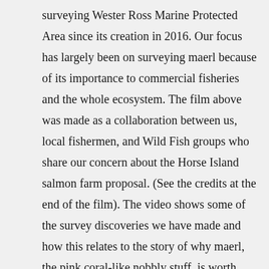surveying Wester Ross Marine Protected Area since its creation in 2016. Our focus has largely been on surveying maerl because of its importance to commercial fisheries and the whole ecosystem. The film above was made as a collaboration between us, local fishermen, and Wild Fish groups who share our concern about the Horse Island salmon farm proposal. (See the credits at the end of the film). The video shows some of the survey discoveries we have made and how this relates to the story of why maerl, the pink coral-like nobbly stuff, is worth protecting.
Maerl is what makes Wester Ross special.  It is